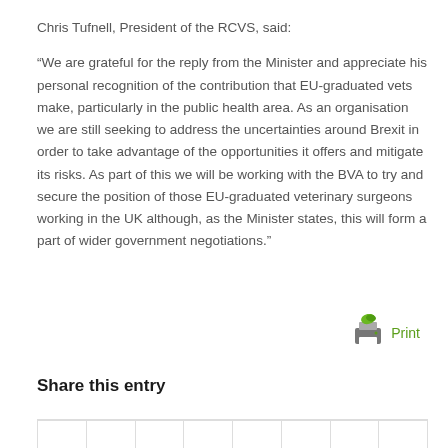Chris Tufnell, President of the RCVS, said:
“We are grateful for the reply from the Minister and appreciate his personal recognition of the contribution that EU-graduated vets make, particularly in the public health area. As an organisation we are still seeking to address the uncertainties around Brexit in order to take advantage of the opportunities it offers and mitigate its risks. As part of this we will be working with the BVA to try and secure the position of those EU-graduated veterinary surgeons working in the UK although, as the Minister states, this will form a part of wider government negotiations.”
[Figure (logo): Green printer icon with the word Print in green text]
Share this entry
|  |  |  |  |  |  |  |  |